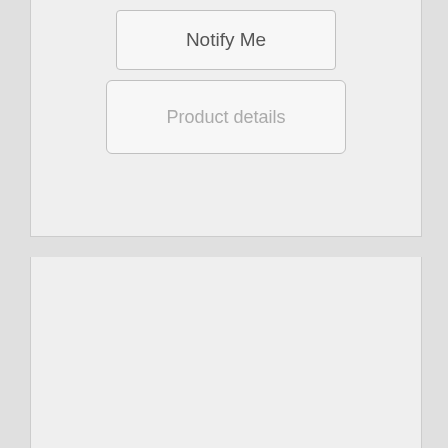[Figure (other): Button labeled 'Notify Me' with rounded rectangle border]
[Figure (other): Button labeled 'Product details' with rounded rectangle border and gray text]
[Figure (photo): Product photo of a USB cable extension coiled on white background]
[Figure (other): 5 empty star rating icons and a green/gray toggle switch]
USB Cable Extension 3ft
3ft USB 2.0 A Male to A Female Extension 28/24AWG Cable ...
| Base price for variant: | $3.50 |
| Sales price: | $3.50 |
| Sales price without tax: | $3.50 |
[Figure (other): Quantity input box with plus button and Add to Cart button (teal)]